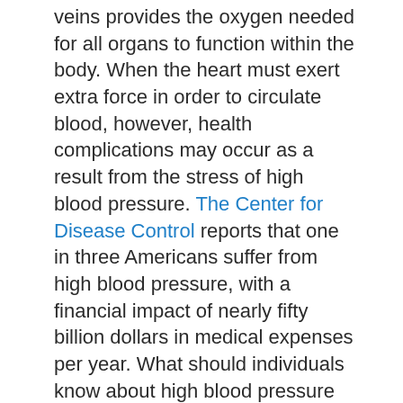veins provides the oxygen needed for all organs to function within the body. When the heart must exert extra force in order to circulate blood, however, health complications may occur as a result from the stress of high blood pressure. The Center for Disease Control reports that one in three Americans suffer from high blood pressure, with a financial impact of nearly fifty billion dollars in medical expenses per year. What should individuals know about high blood pressure and adverse health risks?
Risks Of High Pressure
Our blood vessels need to be able to withstand a great deal of force throughout our lifetimes. Just like anything else in the